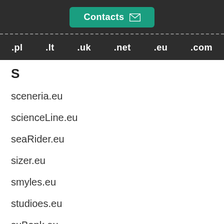Contacts
.pl .lt .uk .net .eu .com
S
sceneria.eu
scienceLine.eu
seaRider.eu
sizer.eu
smyles.eu
studioes.eu
suBank.eu
stalin.eu
storyOf.eu